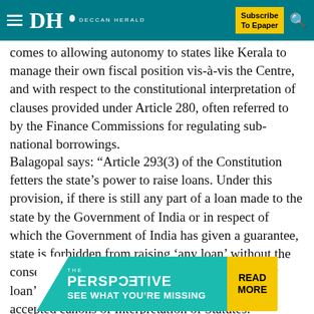DH DECCAN HERALD | Subscribe To Epaper
comes to allowing autonomy to states like Kerala to manage their own fiscal position vis-à-vis the Centre, and with respect to the constitutional interpretation of clauses provided under Article 280, often referred to by the Finance Commissions for regulating sub-national borrowings.
Balagopal says: “Article 293(3) of the Constitution fetters the state’s power to raise loans. Under this provision, if there is still any part of a loan made to the state by the Government of India or in respect of which the Government of India has given a guarantee, state is forbidden from raising ‘any loan’ without the consent of the Union government. The words ‘any loan’ in this chapter must be read considering the accepted canons of Interpretation of Statutes.”
[Figure (infographic): Advertisement banner for 'The Perspective' with teal background, white triangle shape, bold text 'SEE WHAT YOU’RE MISSING', and yellow 'READ MORE' button on the right.]